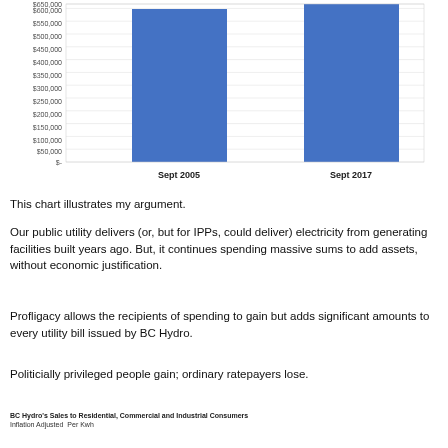[Figure (bar-chart): ]
This chart illustrates my argument.
Our public utility delivers (or, but for IPPs, could deliver) electricity from generating facilities built years ago. But, it continues spending massive sums to add assets, without economic justification.
Profligacy allows the recipients of spending to gain but adds significant amounts to every utility bill issued by BC Hydro.
Politicially privileged people gain; ordinary ratepayers lose.
BC Hydro's Sales to Residential, Commercial and Industrial Consumers  Inflation Adjusted  Per Kwh